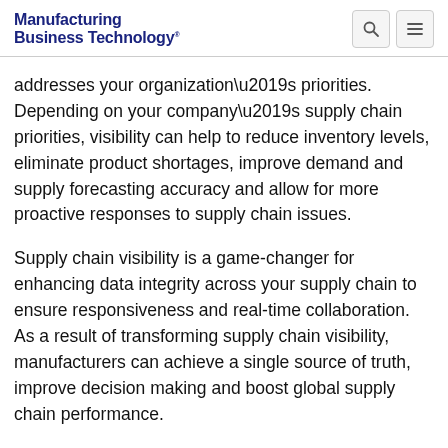Manufacturing Business Technology
addresses your organization’s priorities. Depending on your company’s supply chain priorities, visibility can help to reduce inventory levels, eliminate product shortages, improve demand and supply forecasting accuracy and allow for more proactive responses to supply chain issues.
Supply chain visibility is a game-changer for enhancing data integrity across your supply chain to ensure responsiveness and real-time collaboration. As a result of transforming supply chain visibility, manufacturers can achieve a single source of truth, improve decision making and boost global supply chain performance.